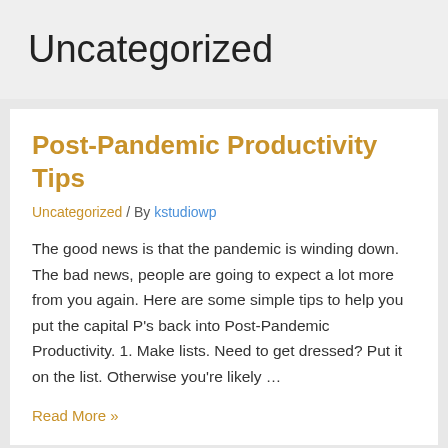Uncategorized
Post-Pandemic Productivity Tips
Uncategorized / By kstudiowp
The good news is that the pandemic is winding down. The bad news, people are going to expect a lot more from you again. Here are some simple tips to help you put the capital P's back into Post-Pandemic Productivity. 1. Make lists. Need to get dressed? Put it on the list. Otherwise you're likely …
Read More »